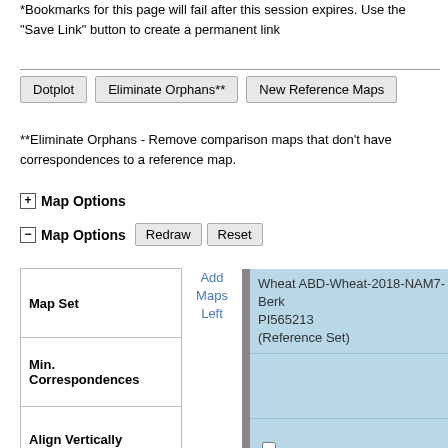*Bookmarks for this page will fail after this session expires. Use the "Save Link" button to create a permanent link
Dotplot | Eliminate Orphans** | New Reference Maps
**Eliminate Orphans - Remove comparison maps that don't have correspondences to a reference map.
+ Map Options
- Map Options  Redraw  Reset
| Map Set |  | Wheat ABD-Wheat-2018-NAM7-BerkPI565213 (Reference Set) |
| --- | --- | --- |
| Min. Correspondences |  |  |
| Align Vertically |  | ☐ |
| Stack |  |  |
| Maps |  | Wheat-2018-NAM7-BxPI565213_3B |
| Start |  | 0 |